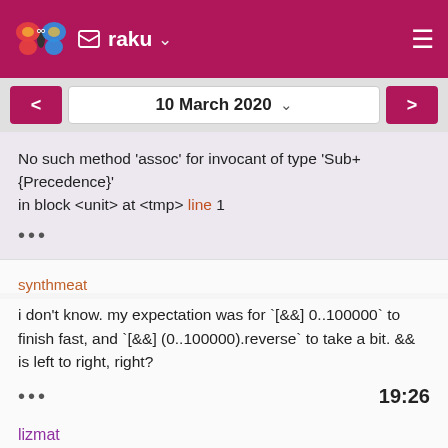raku
10 March 2020
No such method 'assoc' for invocant of type 'Sub+{Precedence}'
in block <unit> at <tmp> line 1

•••
synthmeat
i don't know. my expectation was for `[&&] 0..100000` to finish fast, and `[&&] (0..100000).reverse` to take a bit. && is left to right, right?
19:26
lizmat